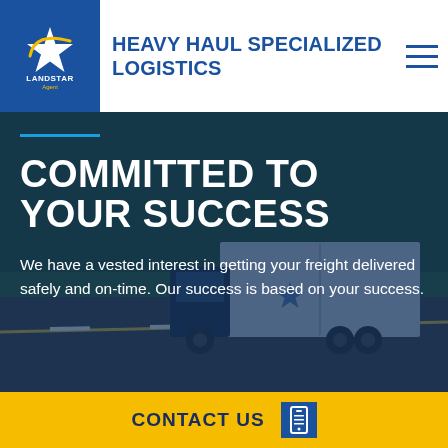[Figure (logo): Landstar Agent logo — white star with circular swoosh on blue square background, text 'LANDSTAR Agent' below]
HEAVY HAUL SPECIALIZED LOGISTICS
[Figure (photo): Hero image of a Landstar semi-truck with trailer driving on a highway, overlaid with a dark blue tint. A blue horizontal accent line appears above the headline text.]
COMMITTED TO YOUR SUCCESS
We have a vested interest in getting your freight delivered safely and on-time. Our success is based on your success.
CONTACT US